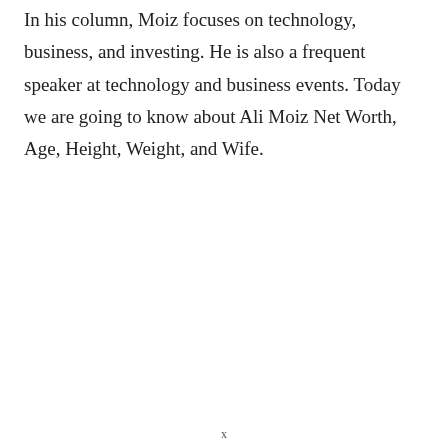In his column, Moiz focuses on technology, business, and investing. He is also a frequent speaker at technology and business events. Today we are going to know about Ali Moiz Net Worth, Age, Height, Weight, and Wife.
x